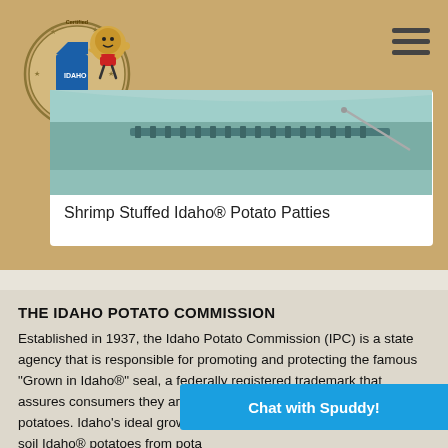[Figure (logo): Idaho Potato Commission certified logo with Mr. Potato mascot giving thumbs up]
[Figure (photo): Close-up photo of a zipper on teal/mint colored fabric with a needle nearby, suggesting food preparation or craft context]
Shrimp Stuffed Idaho® Potato Patties
THE IDAHO POTATO COMMISSION
Established in 1937, the Idaho Potato Commission (IPC) is a state agency that is responsible for promoting and protecting the famous "Grown in Idaho®" seal, a federally registered trademark that assures consumers they are purchasing genuine, top-quality Idaho® potatoes. Idaho's ideal growing conditions, including rich, volcanic soil Idaho® potatoes from pota
Chat with Spuddy!